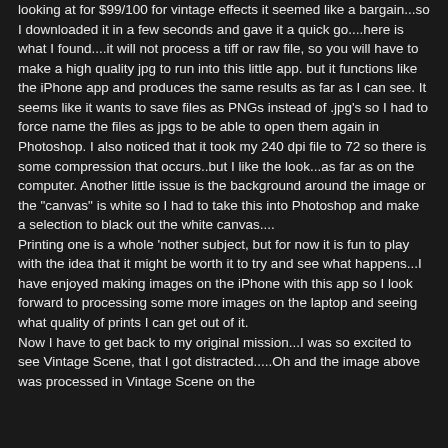looking at for $99/100 for vintage effects it seemed like a bargain...so I downloaded it in a few seconds and gave it a quick go....here is what I found....it will not process a tiff or raw file, so you will have to make a high quality jpg to run into this little app. but it functions like the iPhone app and produces the same results as far as I can see. It seems like it wants to save files as PNGs instead of .jpg's so I had to force name the files as jpgs to be able to open them again in Photoshop. I also noticed that it took my 240 dpi file to 72 so there is some compression that occurs..but I like the look...as far as on the computer. Another little issue is the background around the image or the "canvas" is white so I had to take this into Photoshop and make a selection to black out the white canvas....
Printing one is a whole 'nother subject, but for now it is fun to play with the idea that it might be worth it to try and see what happens...I have enjoyed making images on the iPhone with this app so I look forward to processing some more images on the laptop and seeing what quality of prints I can get out of it.
Now I have to get back to my original mission...I was so excited to see Vintage Scene, that I got distracted.....Oh and the image above was processed in Vintage Scene on the